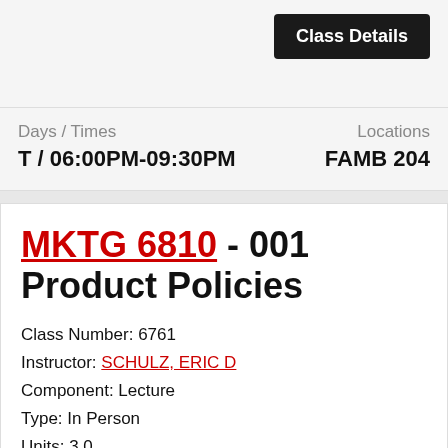Class Details
Days / Times
T / 06:00PM-09:30PM
Locations
FAMB 204
MKTG 6810 - 001 Product Policies
Class Number: 6761
Instructor: SCHULZ, ERIC D
Component: Lecture
Type: In Person
Units: 3.0
Requisites: Yes
Wait List: No